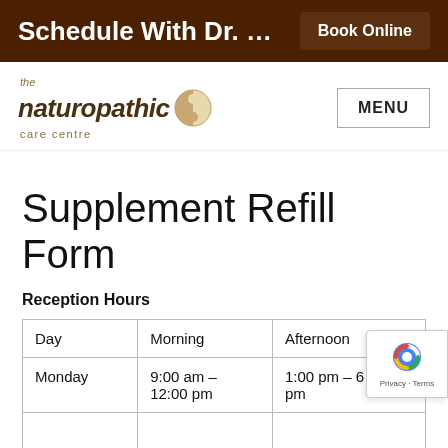Schedule With Dr. …
[Figure (logo): The Naturopathic Care Centre logo with yin-yang symbol]
Supplement Refill Form
Reception Hours
| Day | Morning | Afternoon |
| --- | --- | --- |
| Monday | 9:00 am – 12:00 pm | 1:00 pm – 6 pm |